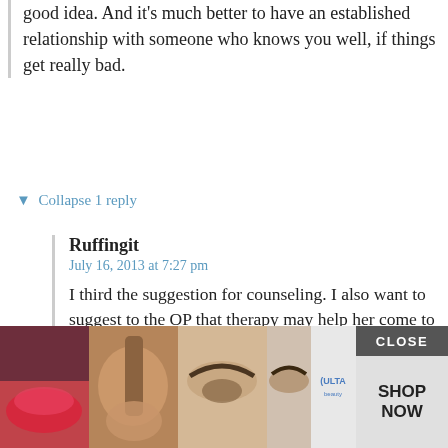good idea. And it's much better to have an established relationship with someone who knows you well, if things get really bad.
▼ Collapse 1 reply
Ruffingit
July 16, 2013 at 7:27 pm
I third the suggestion for counseling. I also want to suggest to the OP that therapy may help her come to terms with anger that she has with her father. When a parent gets sick with illnesses that can be attributed to their own choices, it's sometimes hard to feel the anger with the parent so it gets redirected to the product, to the job, to other family members, etc.
This may not be the case at all for the OP, but if it is I jus... ...ost
[Figure (advertisement): Ulta beauty advertisement overlay with makeup images, CLOSE button, and SHOP NOW button]